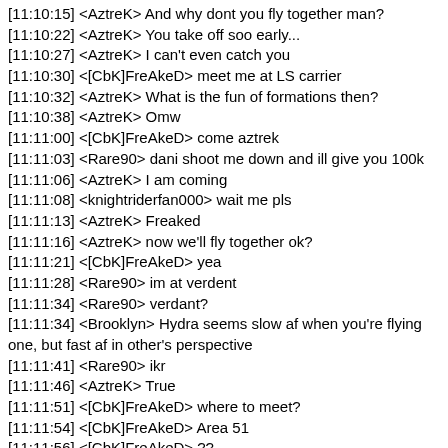[11:10:15] <AztreK> And why dont you fly together man?
[11:10:22] <AztreK> You take off soo early...
[11:10:27] <AztreK> I can't even catch you
[11:10:30] <[CbK]FreAkeD> meet me at LS carrier
[11:10:32] <AztreK> What is the fun of formations then?
[11:10:38] <AztreK> Omw
[11:11:00] <[CbK]FreAkeD> come aztrek
[11:11:03] <Rare90> dani shoot me down and ill give you 100k
[11:11:06] <AztreK> I am coming
[11:11:08] <knightriderfan000> wait me pls
[11:11:13] <AztreK> Freaked
[11:11:16] <AztreK> now we'll fly together ok?
[11:11:21] <[CbK]FreAkeD> yea
[11:11:28] <Rare90> im at verdent
[11:11:34] <Rare90> verdant?
[11:11:34] <Brooklyn> Hydra seems slow af when you're flying one, but fast af in other's perspective
[11:11:41] <Rare90> ikr
[11:11:46] <AztreK> True
[11:11:51] <[CbK]FreAkeD> where to meet?
[11:11:54] <[CbK]FreAkeD> Area 51
[11:11:56] <[CbK]FreAkeD> ??
[11:12:14] <Danielson> physics
[11:12:19] <AztreK> freaked
[11:12:22] <[CbK]FreAkeD> yes?